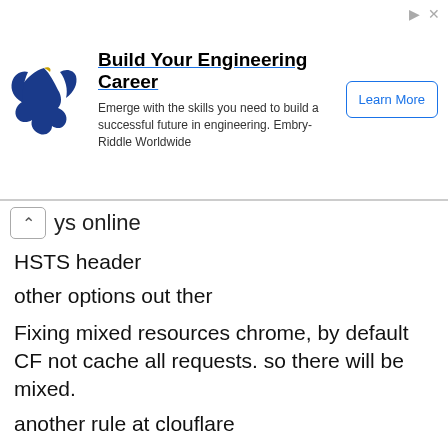[Figure (other): Advertisement banner: Eagle logo, 'Build Your Engineering Career' title, 'Emerge with the skills you need to build a successful future in engineering. Embry-Riddle Worldwide' text, and 'Learn More' button.]
ys online
HSTS header
other options out ther
Fixing mixed resources chrome, by default CF not cache all requests. so there will be mixed.
another rule at clouflare
Force rewrite SSL.
you can serve https without installing SSL on your server.but some complications like mixed content http & https.
does cloudflare works with letsencrypt &other SSL
you can buy SSL from cloudflare too and upload